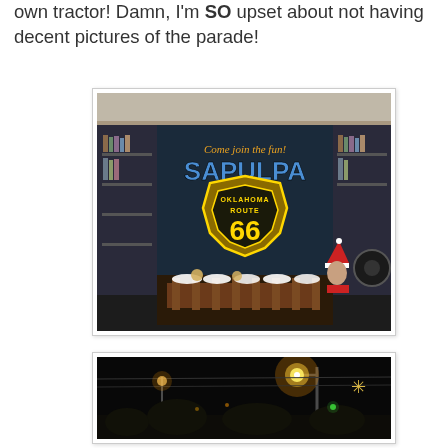own tractor! Damn, I'm SO upset about not having decent pictures of the parade!
[Figure (photo): A store window display showing a 'Come join the fun! Sapulpa Oklahoma Route 66' sign with blue and yellow lettering. In the foreground is a Christmas scene with a wooden fence, reindeer decorations, and a person wearing a red and white Santa hat.]
[Figure (photo): A nighttime street scene showing a glowing orange street light, snowflake decorations, bare trees silhouetted against the dark sky, and distant lights.]